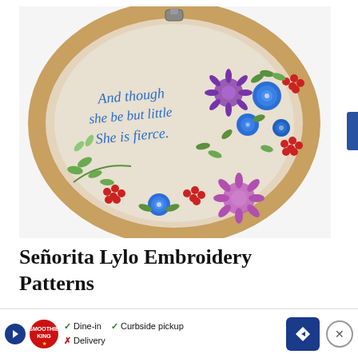[Figure (photo): Embroidery hoop with floral design and text 'And though she be but little She is fierce' stitched in blue, surrounded by colorful flowers in blue, red, and purple on beige fabric, with a wooden hoop frame.]
Señorita Lylo Embroidery Patterns
Señorita Lylo's collection is inspired by im... en and a... of